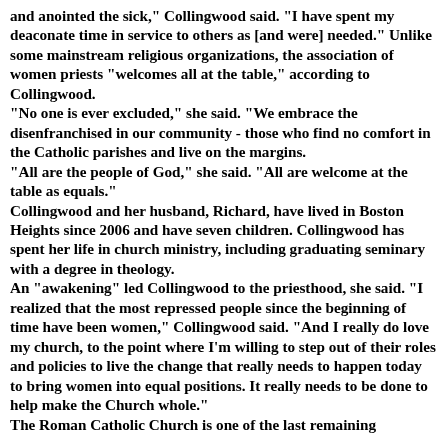and anointed the sick," Collingwood said. "I have spent my deaconate time in service to others as [and were] needed." Unlike some mainstream religious organizations, the association of women priests "welcomes all at the table," according to Collingwood. "No one is ever excluded," she said. "We embrace the disenfranchised in our community - those who find no comfort in the Catholic parishes and live on the margins. "All are the people of God," she said. "All are welcome at the table as equals." Collingwood and her husband, Richard, have lived in Boston Heights since 2006 and have seven children. Collingwood has spent her life in church ministry, including graduating seminary with a degree in theology. An "awakening" led Collingwood to the priesthood, she said. "I realized that the most repressed people since the beginning of time have been women," Collingwood said. "And I really do love my church, to the point where I'm willing to step out of their roles and policies to live the change that really needs to happen today to bring women into equal positions. It really needs to be done to help make the Church whole." The Roman Catholic Church is one of the last remaining